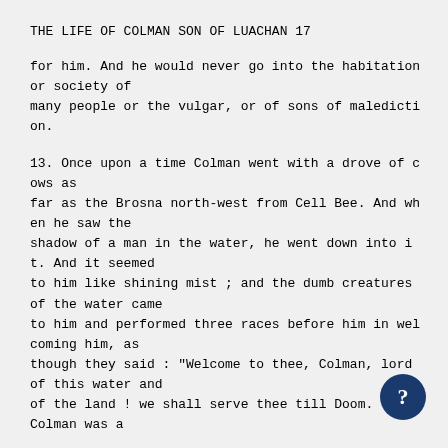THE LIFE OF COLMAN SON OF LUACHAN 17
for him. And he would never go into the habitation or society of many people or the vulgar, or of sons of malediction.
13. Once upon a time Colman went with a drove of cows as far as the Brosna north-west from Cell Bee. And when he saw the shadow of a man in the water, he went down into it. And it seemed to him like shining mist ; and the dumb creatures of the water came to him and performed three races before him in welcoming him, as though they said : "Welcome to thee, Colman, lord of this water and of the land ! we shall serve thee till Doom. T Colman was a day and a night under water, and came dry out of i